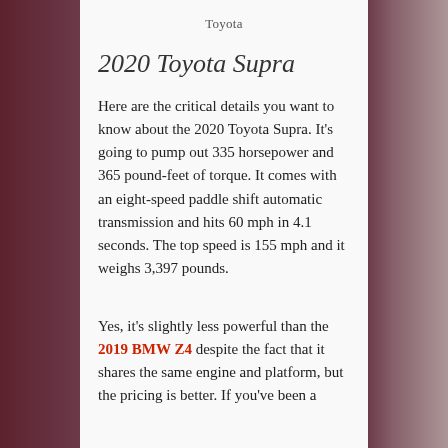Toyota
2020 Toyota Supra
Here are the critical details you want to know about the 2020 Toyota Supra. It's going to pump out 335 horsepower and 365 pound-feet of torque. It comes with an eight-speed paddle shift automatic transmission and hits 60 mph in 4.1 seconds. The top speed is 155 mph and it weighs 3,397 pounds.
Yes, it's slightly less powerful than the 2019 BMW Z4 despite the fact that it shares the same engine and platform, but the pricing is better. If you've been a